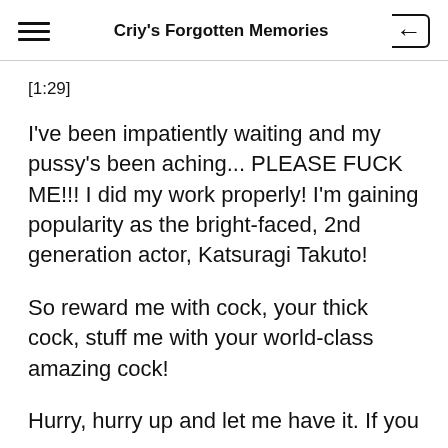Criy's Forgotten Memories
[1:29]
I've been impatiently waiting and my pussy's been aching... PLEASE FUCK ME!!! I did my work properly! I'm gaining popularity as the bright-faced, 2nd generation actor, Katsuragi Takuto!
So reward me with cock, your thick cock, stuff me with your world-class amazing cock!
Hurry, hurry up and let me have it. If you